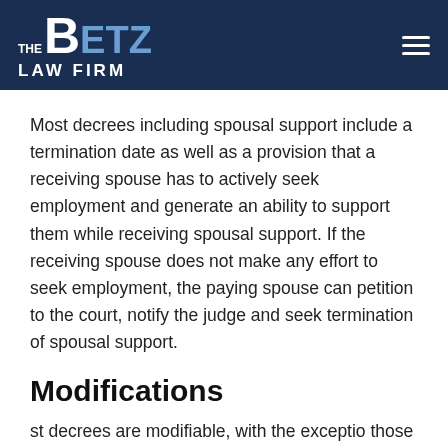THE BETZ LAW FIRM
Most decrees including spousal support include a termination date as well as a provision that a receiving spouse has to actively seek employment and generate an ability to support them while receiving spousal support. If the receiving spouse does not make any effort to seek employment, the paying spouse can petition to the court, notify the judge and seek termination of spousal support.
Modifications
st decrees are modifiable, with the exceptio those that specifically state so. Similarly, all orders